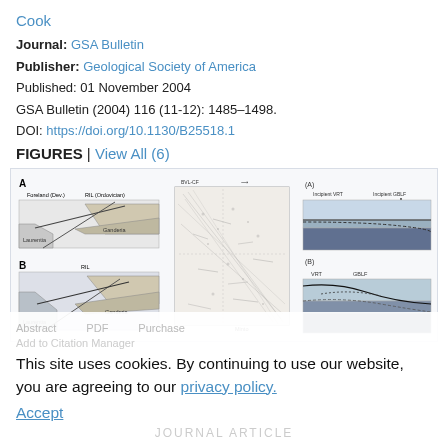Cook
Journal: GSA Bulletin
Publisher: Geological Society of America
Published: 01 November 2004
GSA Bulletin (2004) 116 (11-12): 1485–1498.
DOI: https://doi.org/10.1130/B25518.1
FIGURES | View All (6)
[Figure (schematic): Three-panel geological figure showing: (A) cross-section with Foreland (Dev.) and RIL (Ordovician) labels, Laurentia and Ganderia blocks; (B) similar cross-section with RIL label, Laurentia and Ganderia; middle panel showing seismic/map data with BVL-CF label and Minto label; right panels (A) showing incipient VRT and incipient GBLF with arrows, and (B) showing VRT, GBLF, MA, and Discontinuity labels.]
This site uses cookies. By continuing to use our website, you are agreeing to our privacy policy. Accept